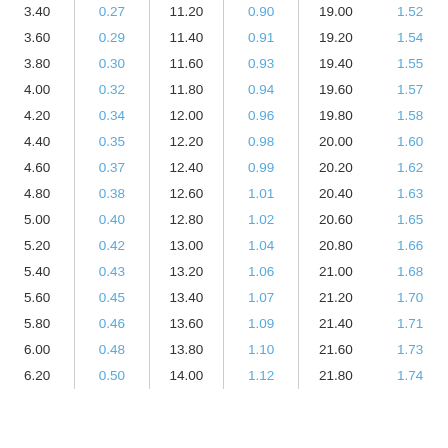| 3.40 | 0.27 | 11.20 | 0.90 | 19.00 | 1.52 |
| 3.60 | 0.29 | 11.40 | 0.91 | 19.20 | 1.54 |
| 3.80 | 0.30 | 11.60 | 0.93 | 19.40 | 1.55 |
| 4.00 | 0.32 | 11.80 | 0.94 | 19.60 | 1.57 |
| 4.20 | 0.34 | 12.00 | 0.96 | 19.80 | 1.58 |
| 4.40 | 0.35 | 12.20 | 0.98 | 20.00 | 1.60 |
| 4.60 | 0.37 | 12.40 | 0.99 | 20.20 | 1.62 |
| 4.80 | 0.38 | 12.60 | 1.01 | 20.40 | 1.63 |
| 5.00 | 0.40 | 12.80 | 1.02 | 20.60 | 1.65 |
| 5.20 | 0.42 | 13.00 | 1.04 | 20.80 | 1.66 |
| 5.40 | 0.43 | 13.20 | 1.06 | 21.00 | 1.68 |
| 5.60 | 0.45 | 13.40 | 1.07 | 21.20 | 1.70 |
| 5.80 | 0.46 | 13.60 | 1.09 | 21.40 | 1.71 |
| 6.00 | 0.48 | 13.80 | 1.10 | 21.60 | 1.73 |
| 6.20 | 0.50 | 14.00 | 1.12 | 21.80 | 1.74 |